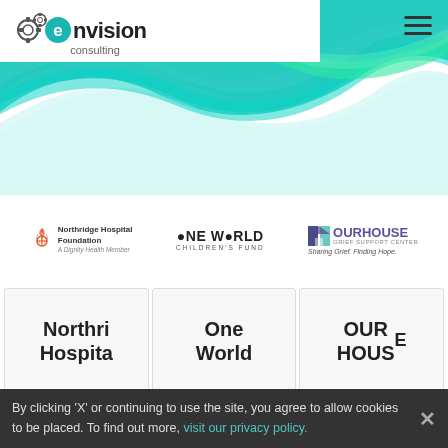[Figure (logo): Envision Consulting logo with gear icons and teal circular E]
[Figure (illustration): Decorative hero banner with flowing teal and seafoam wave ribbons on white background]
[Figure (logo): Northridge Hospital Foundation - A Dignity Health Member logo]
[Figure (logo): One World Children's Fund logo]
[Figure (logo): OUR HOUSE Grief Support Center - Sharing Grief. Finding Hope. logo]
Northri Hospital
One World
OUR HOUSE
By clicking 'X' or continuing to use the site, you agree to allow cookies to be placed. To find out more, visit our privacy policy.